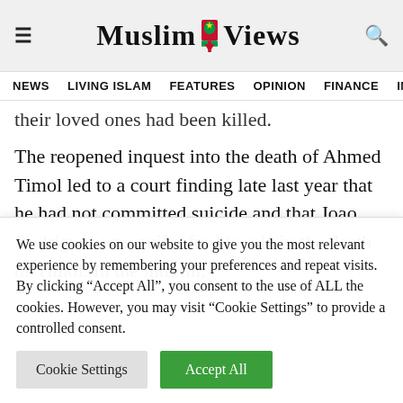[Figure (logo): Muslim Views logo with decorative emblem between 'Muslim' and 'Views' text, with hamburger menu icon on left and search icon on right]
NEWS   LIVING ISLAM   FEATURES   OPINION   FINANCE   IM
their loved ones had been killed.
The reopened inquest into the death of Ahmed Timol led to a court finding late last year that he had not committed suicide and that Joao Rodrigues was guilty for his role in the death of Timol. In the interim,
We use cookies on our website to give you the most relevant experience by remembering your preferences and repeat visits. By clicking "Accept All", you consent to the use of ALL the cookies. However, you may visit "Cookie Settings" to provide a controlled consent.